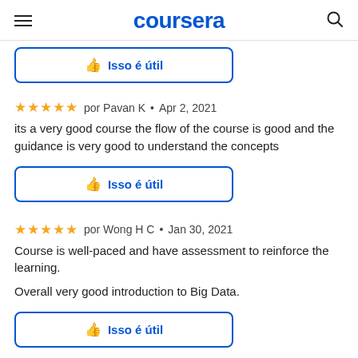coursera
[Figure (other): Isso é útil (This is helpful) button with thumbs up icon, partially cut off at top]
★★★★★ por Pavan K • Apr 2, 2021
its a very good course the flow of the course is good and the guidance is very good to understand the concepts
[Figure (other): Isso é útil (This is helpful) button with thumbs up icon]
★★★★★ por Wong H C • Jan 30, 2021
Course is well-paced and have assessment to reinforce the learning.

Overall very good introduction to Big Data.
[Figure (other): Isso é útil (This is helpful) button with thumbs up icon]